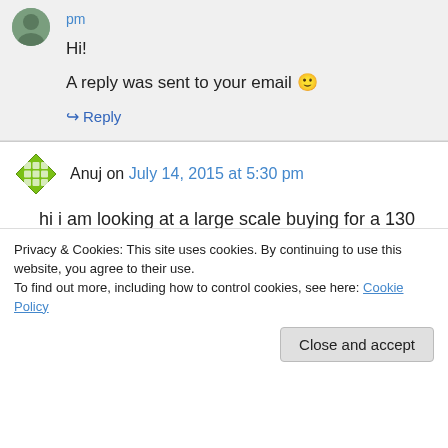pm
Hi!
A reply was sent to your email 🙂
↪ Reply
Anuj on July 14, 2015 at 5:30 pm
hi i am looking at a large scale buying for a 130 acre property in India that i am developing. i am
Privacy & Cookies: This site uses cookies. By continuing to use this website, you agree to their use.
To find out more, including how to control cookies, see here: Cookie Policy
Close and accept
anujsortout@gmail.com or call me on +91